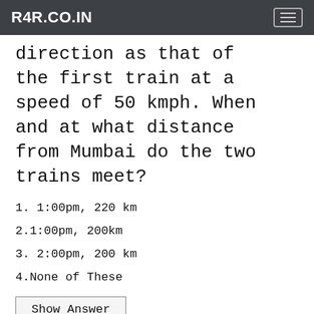R4R.CO.IN
direction as that of the first train at a speed of 50 kmph. When and at what distance from Mumbai do the two trains meet?
1. 1:00pm, 220 km
2.1:00pm, 200km
3. 2:00pm, 200 km
4.None of These
Show Answer